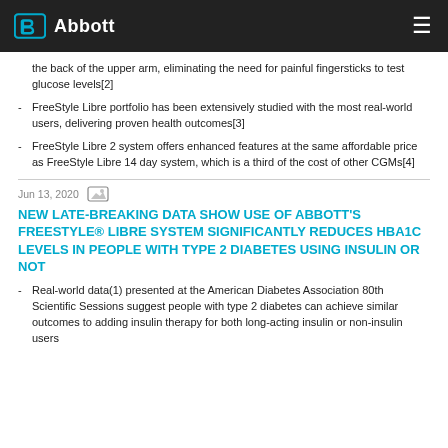Abbott
the back of the upper arm, eliminating the need for painful fingersticks to test glucose levels[2]
FreeStyle Libre portfolio has been extensively studied with the most real-world users, delivering proven health outcomes[3]
FreeStyle Libre 2 system offers enhanced features at the same affordable price as FreeStyle Libre 14 day system, which is a third of the cost of other CGMs[4]
Jun 13, 2020
NEW LATE-BREAKING DATA SHOW USE OF ABBOTT'S FREESTYLE® LIBRE SYSTEM SIGNIFICANTLY REDUCES HBA1C LEVELS IN PEOPLE WITH TYPE 2 DIABETES USING INSULIN OR NOT
Real-world data(1) presented at the American Diabetes Association 80th Scientific Sessions suggest people with type 2 diabetes can achieve similar outcomes to adding insulin therapy for both long-acting insulin or non-insulin users